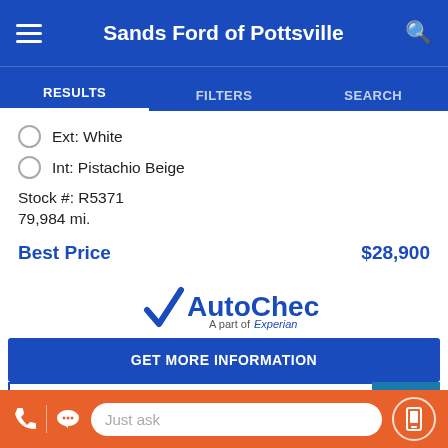Sands Ford of Pottsville
RESULTS | FILTERS | SEARCH
Ext: White
Int: Pistachio Beige
Stock #: R5371
79,984 mi.
Best Price  $28,900
[Figure (logo): AutoCheck – A part of Experian logo with blue checkmark]
GET MORE INFORMATION
SEE PAYMENT OPTIONS
Just ask